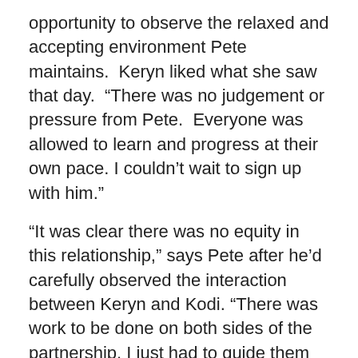opportunity to observe the relaxed and accepting environment Pete maintains.  Keryn liked what she saw that day.  “There was no judgement or pressure from Pete.  Everyone was allowed to learn and progress at their own pace. I couldn’t wait to sign up with him.”
“It was clear there was no equity in this relationship,” says Pete after he’d carefully observed the interaction between Keryn and Kodi. “There was work to be done on both sides of the partnership. I just had to guide them through the process.”
That process has given Keryn and her horse a completely different relationship; one that gives her confidence is her abilities and builds incredible trust between them.  Kodi is learning to be in tune with his rider. “You are said to have 100% faith…